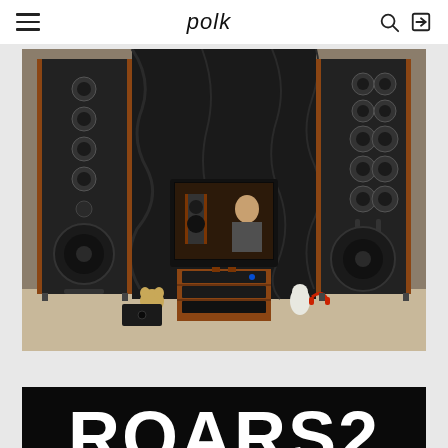polk
[Figure (photo): A home audio listening room with two large black floor-standing speakers flanking a flat-screen TV mounted on a wooden AV stand. The TV shows a speaker review video with a man on screen. Audio equipment is on the stand. Small stuffed animals are on the floor.]
[Figure (photo): Bottom portion of a dark background image showing bold white text that begins with letters ROARS2 (partially cut off).]